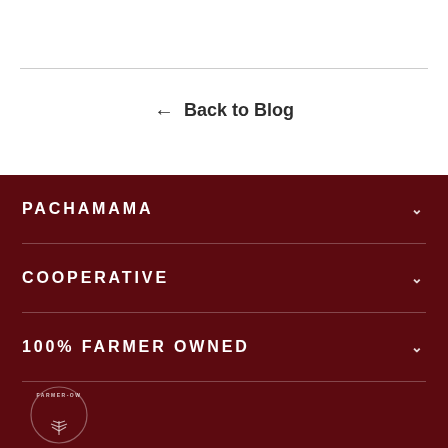← Back to Blog
PACHAMAMA
COOPERATIVE
100% FARMER OWNED
[Figure (logo): Circular farmer-owned logo badge with wheat/leaf design at bottom left of dark footer]